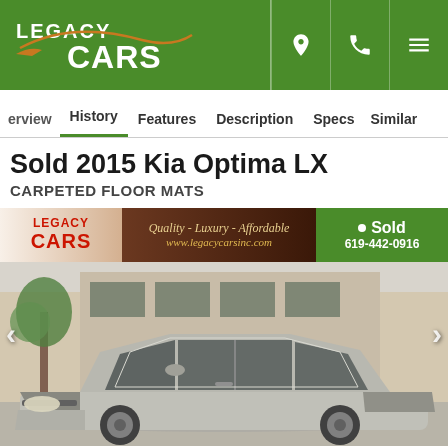Legacy Cars - header with logo and navigation icons
erview   History   Features   Description   Specs   Similar
Sold 2015 Kia Optima LX
CARPETED FLOOR MATS
[Figure (photo): Photo of a silver 2015 Kia Optima LX sedan parked in front of Legacy Cars dealership, with Legacy Cars banner overlay showing 'Quality - Luxury - Affordable', 'www.legacycarsinc.com', '619-442-0916', and a green 'Sold' badge. Navigation arrows on sides of image.]